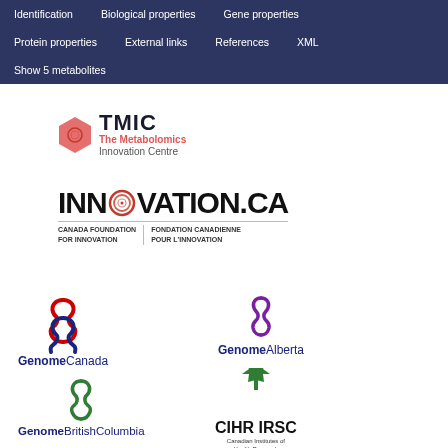[Figure (screenshot): Navigation menu bar with dark blue background showing tabs: Identification, Biological properties, Gene properties, Protein properties, External links, References, XML, Show 5 metabolites]
[Figure (logo): TMIC - The Metabolomics Innovation Centre logo with red hexagon icon]
[Figure (logo): INNOVATION.CA - Canada Foundation for Innovation / Fondation Canadienne Pour L'Innovation logo with red spiral O]
[Figure (logo): Genome Canada logo with red and blue DNA helix icon]
[Figure (logo): Genome Alberta logo with purple DNA helix icon]
[Figure (logo): Genome British Columbia logo with green DNA helix icon]
[Figure (logo): CIHR IRSC - Canadian Institutes of Health Research / Instituts de recherche en sante du Canada logo with green maple leaf]